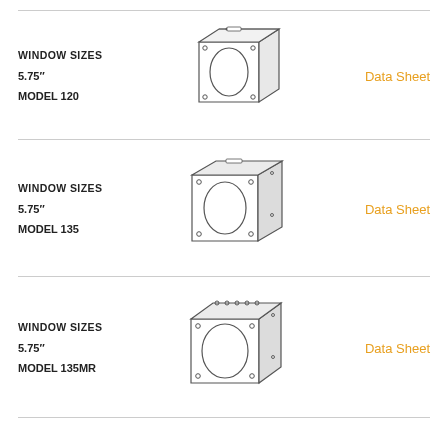WINDOW SIZES
5.75"
MODEL 120
[Figure (engineering-diagram): Isometric line drawing of a square electrical enclosure/meter box (Model 120) with an oval window opening and corner mounting screws, viewed from upper-left perspective]
Data Sheet
WINDOW SIZES
5.75"
MODEL 135
[Figure (engineering-diagram): Isometric line drawing of a square electrical enclosure/meter box (Model 135) slightly larger than Model 120, with an oval window opening and corner mounting screws, viewed from upper-left perspective]
Data Sheet
WINDOW SIZES
5.75"
MODEL 135MR
[Figure (engineering-diagram): Isometric line drawing of a square electrical enclosure/meter box (Model 135MR) with multiple screws along top edge, oval window opening, and corner mounting screws, viewed from upper-left perspective]
Data Sheet